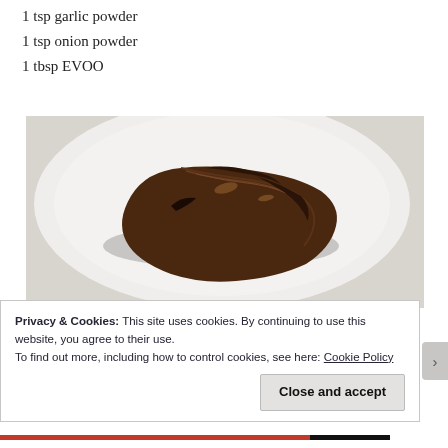1 tsp garlic powder
1 tsp onion powder
1 tbsp EVOO
[Figure (photo): A piece of cooked/braised beef brisket or short rib on a white round plate, viewed from above. The meat is dark brown and charred on top with visible grain and texture.]
Privacy & Cookies: This site uses cookies. By continuing to use this website, you agree to their use.
To find out more, including how to control cookies, see here: Cookie Policy
Close and accept